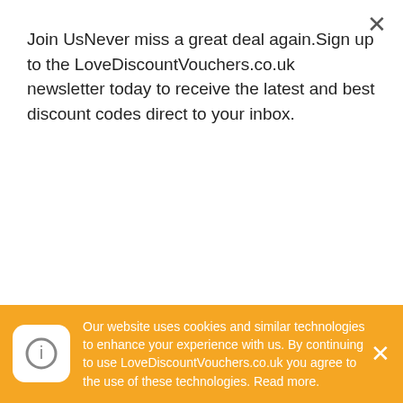Join UsNever miss a great deal again.Sign up to the LoveDiscountVouchers.co.uk newsletter today to receive the latest and best discount codes direct to your inbox.
Subscribe
Norway, Poland, Romania, Spain, Sweden.
About Abelini
Abelini is an online store. Abelini jewellery has the unique ability to translate the latest expressions of style and exquisite design into jewellery that lasts a lifetime.
Our website uses cookies and similar technologies to enhance your experience with us. By continuing to use LoveDiscountVouchers.co.uk you agree to the use of these technologies. Read more.